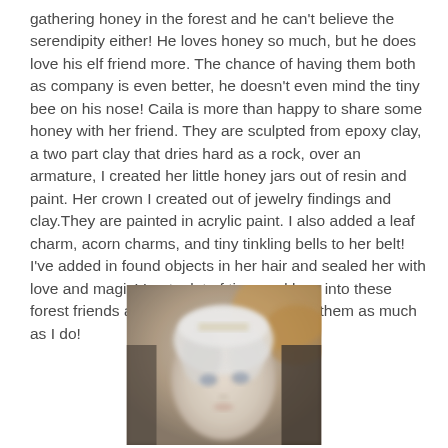gathering honey in the forest and he can't believe the serendipity either! He loves honey so much, but he does love his elf friend more. The chance of having them both as company is even better, he doesn't even mind the tiny bee on his nose! Caila is more than happy to share some honey with her friend. They are sculpted from epoxy clay, a two part clay that dries hard as a rock, over an armature, I created her little honey jars out of resin and paint. Her crown I created out of jewelry findings and clay.They are painted in acrylic paint. I also added a leaf charm, acorn charms, and tiny tinkling bells to her belt! I've added in found objects in her hair and sealed her with love and magic! I put a lot of time and love into these forest friends and I hope that you will love them as much as I do!
[Figure (photo): A blurry close-up photo of a sculpted elf/fairy doll face with white hair and a crown, painted features, looking slightly downward.]